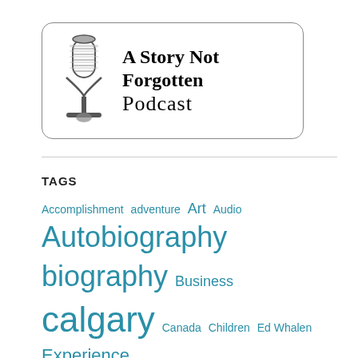[Figure (logo): A Story Not Forgotten Podcast logo with microphone illustration inside a rounded rectangle border]
TAGS
Accomplishment adventure Art Audio Autobiography biography Business calgary Canada Children Ed Whalen Experience family free grandparents history Information Inspiration journal Legacy life Life Story love memoir Memories motorcycle music News passion